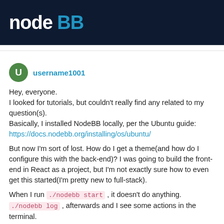node BB
username1001
Hey, everyone.
I looked for tutorials, but couldn't really find any related to my question(s).
Basically, I installed NodeBB locally, per the Ubuntu guide:
https://docs.nodebb.org/installing/os/ubuntu/

But now I'm sort of lost. How do I get a theme(and how do I configure this with the back-end)? I was going to build the front-end in React as a project, but I'm not exactly sure how to even get this started(I'm pretty new to full-stack).

When I run ./nodebb start , it doesn't do anything. ./nodebb log , afterwards and I see some actions in the terminal.

So I guess my question is: how do I get a front-end up and running, interacting with the NodeBB software? Are there tutorials on this?